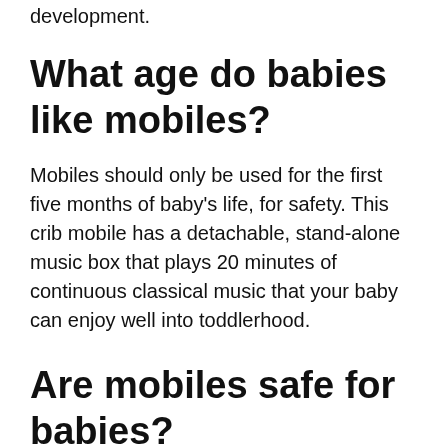development.
What age do babies like mobiles?
Mobiles should only be used for the first five months of baby's life, for safety. This crib mobile has a detachable, stand-alone music box that plays 20 minutes of continuous classical music that your baby can enjoy well into toddlerhood.
Are mobiles safe for babies?
Mobiles, another common fixture in baby's rooms, should not contain small parts that could become choking hazards, and should be hung out of the baby's reach. Windows: